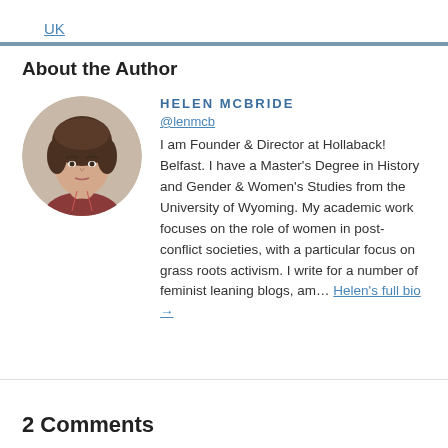UK
About the Author
[Figure (photo): Circular profile photo of Helen McBride, a woman with short hair]
HELEN MCBRIDE
@lenmcb
I am Founder & Director at Hollaback! Belfast. I have a Master's Degree in History and Gender & Women's Studies from the University of Wyoming. My academic work focuses on the role of women in post-conflict societies, with a particular focus on grass roots activism. I write for a number of feminist leaning blogs, am... Helen's full bio →
2 Comments